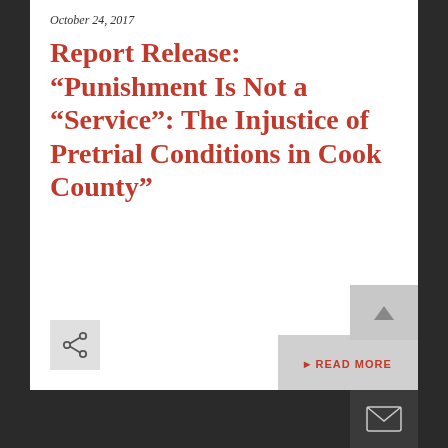October 24, 2017
Report Release: “Punishment Is Not a “Service”: The Injustice of Pretrial Conditions in Cook County”
› READ MORE